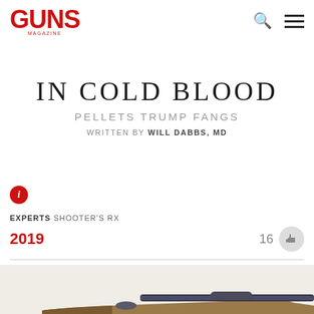GUNS MAGAZINE
IN COLD BLOOD
PELLETS TRUMP FANGS
WRITTEN BY WILL DABBS, MD
EXPERTS SHOOTER'S RX
2019
[Figure (photo): Partial view of a firearm (appears to be a rifle or shotgun with wooden stock and blue/black barrel) photographed against a white background]